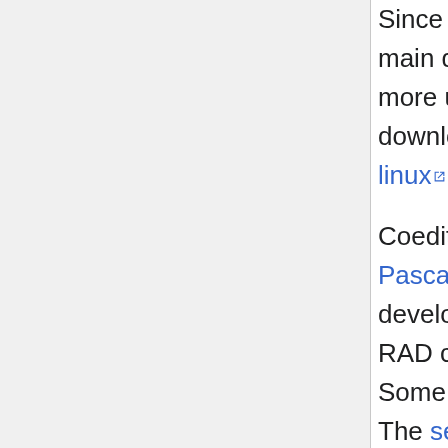Since September 2020 this is the opposite, linux is the main development platform. While in the past Coedit was more used under Windows since the third version the download statistics show that linux it's more used under linux. Coedit has the particularity of being written in Object Pascal. It takes advantage of the Lazarus development platform, its visual component library, the RAD concept and the Synedit code editor component. Some of the tools used in background are written in D. The setup program is also a D program that's compiled directly in Coedit. Each major version is named gold and comes with new features. They are followed by several regular updates with